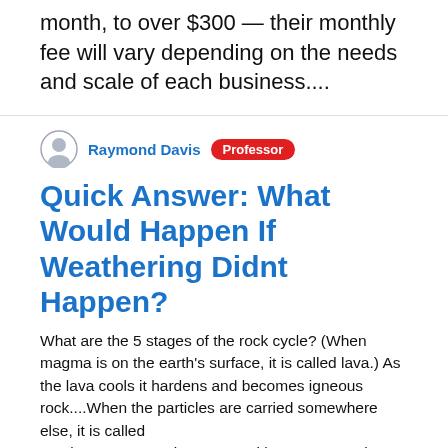month, to over $300 — their monthly fee will vary depending on the needs and scale of each business....
Raymond Davis · Professor
Quick Answer: What Would Happen If Weathering Didnt Happen?
What are the 5 stages of the rock cycle? (When magma is on the earth's surface, it is called lava.) As the lava cools it hardens and becomes igneous rock....When the particles are carried somewhere else, it is called erosion.Transportation....Deposition....Compaction & Cementation.. Why is weathering important process in the environment? Erosion is one of the most influential natural